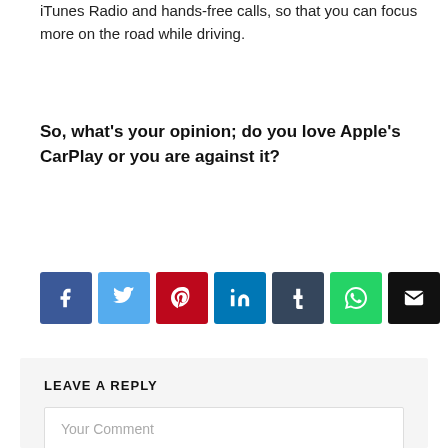iTunes Radio and hands-free calls, so that you can focus more on the road while driving.
So, what's your opinion; do you love Apple's CarPlay or you are against it?
[Figure (other): Social sharing buttons: Facebook, Twitter, Pinterest, LinkedIn, Tumblr, WhatsApp, Email]
LEAVE A REPLY
Your Comment